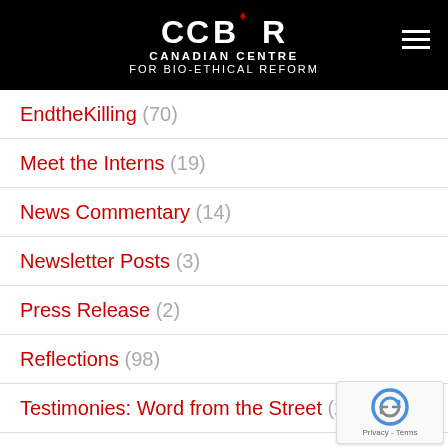CCBR - CANADIAN CENTRE FOR BIO-ETHICAL REFORM
EndtheKilling (70)
Meet the Interns (19)
News Commentary (14)
Newsletter Posts (3)
Press Release (2)
Reflections (98)
Testimonies: Word from the Street (24)
Uncategorized (9)
Using AVP (24)
What can I do to end abortion (34)